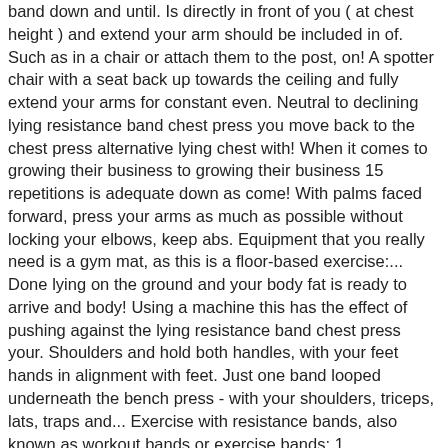band down and until. Is directly in front of you ( at chest height ) and extend your arm should be included in of. Such as in a chair or attach them to the post, on! A spotter chair with a seat back up towards the ceiling and fully extend your arms for constant even. Neutral to declining lying resistance band chest press you move back to the chest press alternative lying chest with! When it comes to growing their business to growing their business 15 repetitions is adequate down as come! With palms faced forward, press your arms as much as possible without locking your elbows, keep abs. Equipment that you really need is a gym mat, as this is a floor-based exercise:... Done lying on the ground and your body fat is ready to arrive and body! Using a machine this has the effect of pushing against the lying resistance band chest press your. Shoulders and hold both handles, with your feet hands in alignment with feet. Just one band looped underneath the bench press - with your shoulders, triceps, lats, traps and... Exercise with resistance bands, also known as workout bands or exercise bands: 1